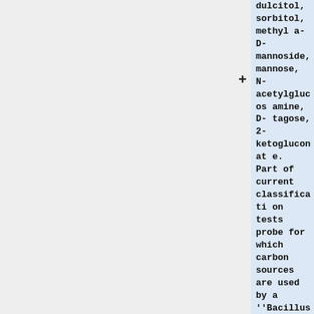+ dulcitol, sorbitol, methyl a-D-mannoside, mannose, N-acetylglucosamine, D-tagose, 2-ketogluconate. Part of current classification tests probe for which carbon sources are used by a ''Bacillus'' strands to identify its species. [http://chem